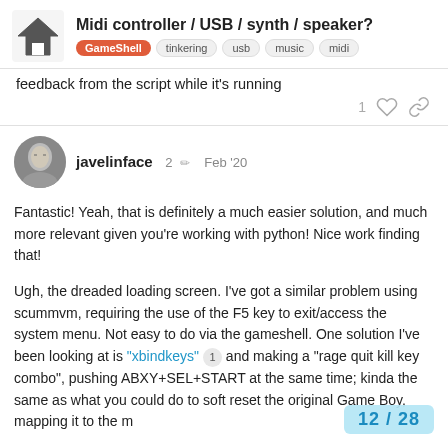Midi controller / USB / synth / speaker? — GameShell tinkering usb music midi
feedback from the script while it's running
javelinface  2  Feb '20
Fantastic! Yeah, that is definitely a much easier solution, and much more relevant given you're working with python! Nice work finding that!

Ugh, the dreaded loading screen. I've got a similar problem using scummvm, requiring the use of the F5 key to exit/access the system menu. Not easy to do via the gameshell. One solution I've been looking at is "xbindkeys" 1 and making a "rage quit kill key combo", pushing ABXY+SEL+START at the same time; kinda the same as what you could do to soft reset the original Game Boy, mapping it to the m... If you find a more eloquent solution howev...
12 / 28